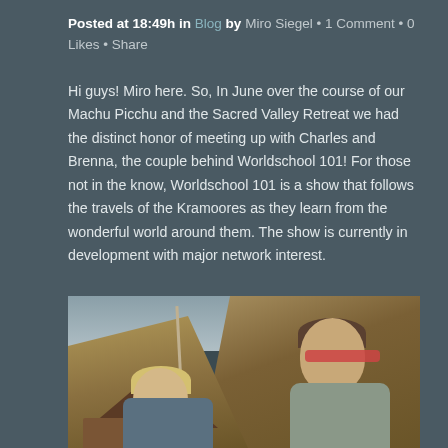Posted at 18:49h in Blog by Miro Siegel · 1 Comment · 0 Likes · Share
Hi guys! Miro here. So, In June over the course of our Machu Picchu and the Sacred Valley Retreat we had the distinct honor of meeting up with Charles and Brenna, the couple behind Worldschool 101! For those not in the know, Worldschool 101 is a show that follows the travels of the Kramoores as they learn from the wonderful world around them. The show is currently in development with major network interest.
[Figure (photo): Outdoor photo showing two people (a blonde woman and a man wearing red glasses) in front of a building with a tiled roof, with dry brown hillside terrain in the background.]